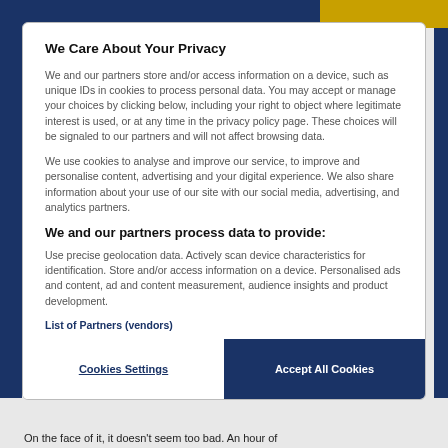We Care About Your Privacy
We and our partners store and/or access information on a device, such as unique IDs in cookies to process personal data. You may accept or manage your choices by clicking below, including your right to object where legitimate interest is used, or at any time in the privacy policy page. These choices will be signaled to our partners and will not affect browsing data.
We use cookies to analyse and improve our service, to improve and personalise content, advertising and your digital experience. We also share information about your use of our site with our social media, advertising, and analytics partners.
We and our partners process data to provide:
Use precise geolocation data. Actively scan device characteristics for identification. Store and/or access information on a device. Personalised ads and content, ad and content measurement, audience insights and product development.
List of Partners (vendors)
Cookies Settings
Accept All Cookies
On the face of it, it doesn't seem too bad. An hour of